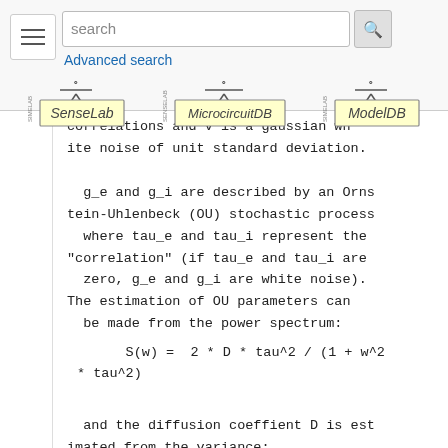[Figure (screenshot): Navigation bar with hamburger menu, search box, search button, Advanced search link, and three database logos: SenseLab, MicrocircuitDB, ModelDB]
ite noise of unit standard deviation.

   g_e and g_i are described by an Ornstein-Uhlenbeck (OU) stochastic process where tau_e and tau_i represent the "correlation" (if tau_e and tau_i are zero, g_e and g_i are white noise). The estimation of OU parameters can be made from the power spectrum:
and the diffusion coeffient D is estimated from the variance: